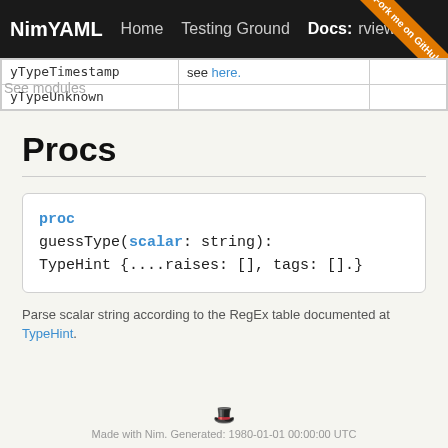NimYAML  Home  Testing Ground  Docs: Overview
| yTypeTimestamp | see here. |
| yTypeUnknown |  |
Procs
proc
guessType(scalar: string):
TypeHint {....raises: [], tags: [].}
Parse scalar string according to the RegEx table documented at TypeHint.
Made with Nim. Generated: 1980-01-01 00:00:00 UTC